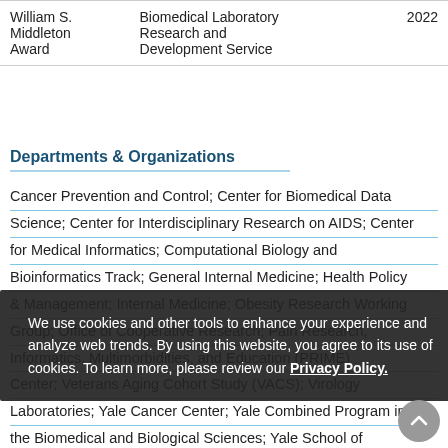| Award | Organization | Year |
| --- | --- | --- |
| William S. Middleton Award | Biomedical Laboratory Research and Development Service | 2022 |
Departments & Organizations
Cancer Prevention and Control; Center for Biomedical Data Science; Center for Interdisciplinary Research on AIDS; Center for Medical Informatics; Computational Biology and Bioinformatics Track; General Internal Medicine; Health Policy & Management; Internal Medicine; Obesity Research Working Group; Office of Cooperative Research; Pain Research, Informatics, Multimorbidities, and Education (PRIME) Center; Veterans Aging Cohort Study (VACS); Virology Laboratories; Yale Cancer Center; Yale Combined Program in the Biomedical and Biological Sciences; Yale School of Public Health; Yale University AIDS Program HIV Prevention Research Scholars (DARS); Yale IPP-Integrated HIV Basic and Clinical Sciences Initiative